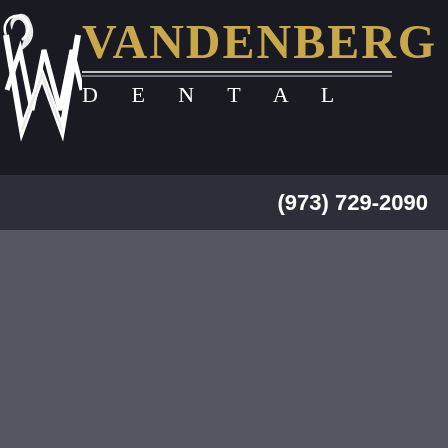[Figure (logo): Vandenberg Dental logo with stylized W lettermark and gold VANDENBERG text above spaced DENTAL subtitle]
(973) 729-2090